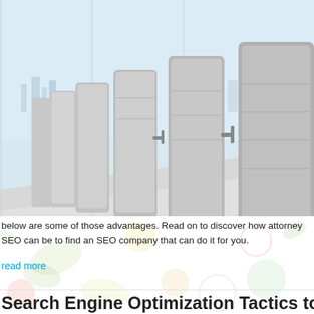[Figure (photo): Conference room with a row of modern grey high-back chairs along a white table, city skyline visible through floor-to-ceiling windows in the background.]
below are some of those advantages. Read on to discover how attorney SEO can be to find an SEO company that can do it for you.
read more
Search Engine Optimization Tactics to Get Yo